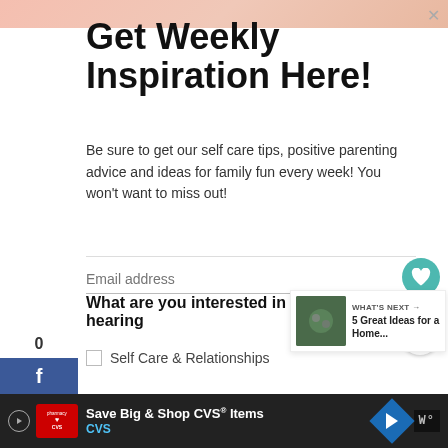[Figure (photo): Top strip showing skin/body photo]
Get Weekly Inspiration Here!
Be sure to get our self care tips, positive parenting advice and ideas for family fun every week! You won't want to miss out!
Email address
What are you interested in hearing
Self Care & Relationships
[Figure (photo): What's Next panel with thumbnail image of people and text: WHAT'S NEXT → 5 Great Ideas for a Home...]
[Figure (screenshot): Ad bar: Save Big & Shop CVS® Items, CVS pharmacy logo and navigation arrow icon]